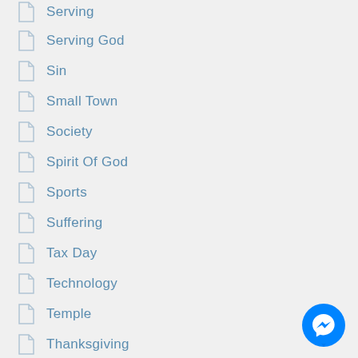Serving
Serving God
Sin
Small Town
Society
Spirit Of God
Sports
Suffering
Tax Day
Technology
Temple
Thanksgiving
Tradition
Trust
Trusting God
[Figure (logo): Facebook Messenger blue circle icon button]